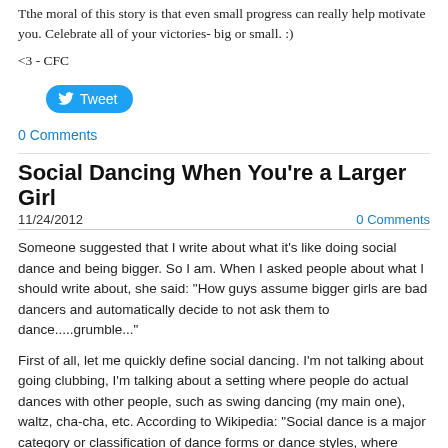Tthe moral of this story is that even small progress can really help motivate you. Celebrate all of your victories- big or small. :)
<3 - CFC
[Figure (other): Twitter Tweet button, blue rounded rectangle with bird icon and 'Tweet' text]
0 Comments
Social Dancing When You're a Larger Girl
11/24/2012
0 Comments
Someone suggested that I write about what it's like doing social dance and being bigger. So I am. When I asked people about what I should write about, she said: "How guys assume bigger girls are bad dancers and automatically decide to not ask them to dance.....grumble..."
First of all, let me quickly define social dancing. I'm not talking about going clubbing, I'm talking about a setting where people do actual dances with other people, such as swing dancing (my main one), waltz, cha-cha, etc. According to Wikipedia: "Social dance is a major category or classification of dance forms or dance styles, where sociability and